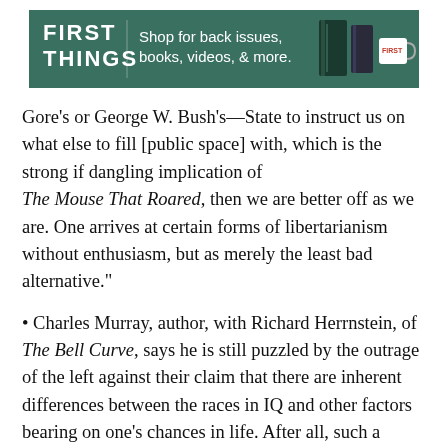[Figure (other): First Things magazine advertisement banner: green background with white text 'FIRST THINGS' logo and 'Shop for back issues, books, videos, & more.' with images of books, a binder, and a mug]
Gore’s or George W. Bush’s—State to instruct us on what else to fill [public space] with, which is the strong if dangling implication of The Mouse That Roared, then we are better off as we are. One arrives at certain forms of libertarianism without enthusiasm, but as merely the least bad alternative.”
• Charles Murray, author, with Richard Herrnstein, of The Bell Curve, says he is still puzzled by the outrage of the left against their claim that there are inherent differences between the races in IQ and other factors bearing on one’s chances in life. After all, such a claim can be employed to advocate an expanded government role in equalizing life outcomes. Now Murray writes in “Deeper into the Brain” that we are facing a